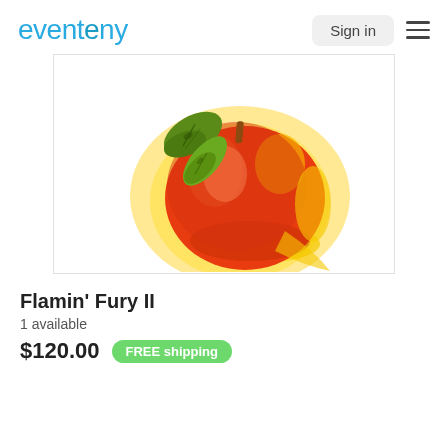eventeny | Sign in
[Figure (illustration): Painting of a red-orange apple or peach-like fruit with green leaves and yellow flame-like glow around it on a white background.]
Flamin' Fury II
1 available
$120.00  FREE shipping